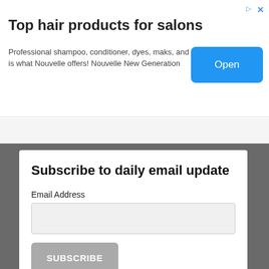Top hair products for salons
Professional shampoo, conditioner, dyes, maks, and counting. This is what Nouvelle offers! Nouvelle New Generation
[Figure (screenshot): Chevron/collapse tab button row]
[Figure (photo): Dark grayscale city building background]
Subscribe to daily email update
Email Address
SUBSCRIBE